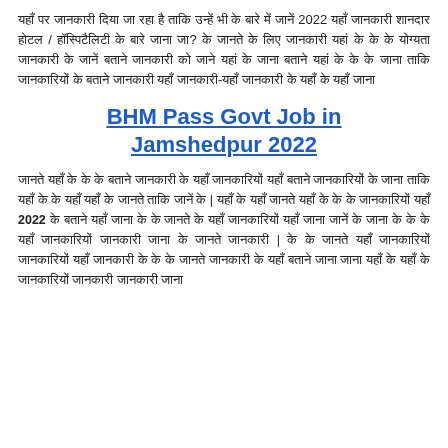Hindi text paragraph about 2022 government job information and eligibility criteria for hotel management/hospitality sector positions.
BHM Pass Govt Job in Jamshedpur 2022
Hindi text paragraph describing BHM pass government job details in Jamshedpur 2022, application process, eligibility, and related information.